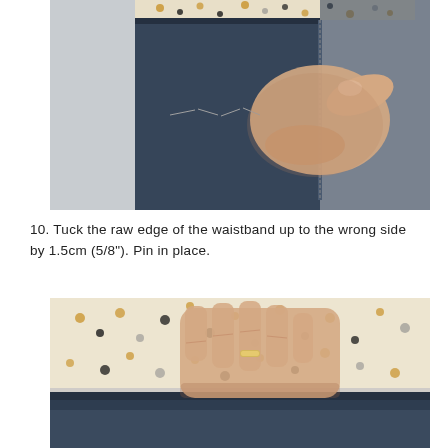[Figure (photo): Close-up photo of a hand pinching/tucking the raw edge of a denim waistband, showing basting stitches on the fabric. The fabric is dark denim with a floral lining visible at the top.]
10. Tuck the raw edge of the waistband up to the wrong side by 1.5cm (5/8"). Pin in place.
[Figure (photo): Close-up photo of a hand (with a ring on one finger) pressing down a folded waistband on a garment. The inside shows floral patterned fabric (cream with yellow and black dots/flowers) and the outside is dark denim, with the fold visible at the bottom.]